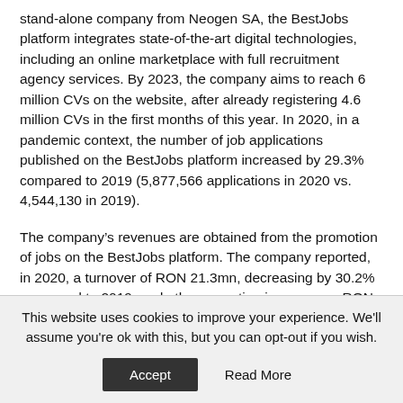stand-alone company from Neogen SA, the BestJobs platform integrates state-of-the-art digital technologies, including an online marketplace with full recruitment agency services. By 2023, the company aims to reach 6 million CVs on the website, after already registering 4.6 million CVs in the first months of this year. In 2020, in a pandemic context, the number of job applications published on the BestJobs platform increased by 29.3% compared to 2019 (5,877,566 applications in 2020 vs. 4,544,130 in 2019).
The company’s revenues are obtained from the promotion of jobs on the BestJobs platform. The company reported, in 2020, a turnover of RON 21.3mn, decreasing by 30.2% compared to 2019, and other operating income was RON 140.896. The company’s net profit in 2020 was RON 2.1mn,
This website uses cookies to improve your experience. We'll assume you're ok with this, but you can opt-out if you wish.